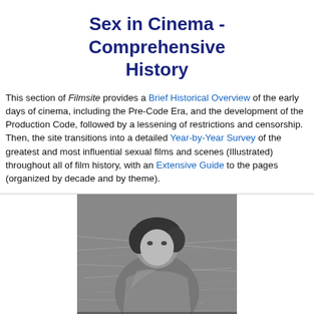Sex in Cinema - Comprehensive History
This section of Filmsite provides a Brief Historical Overview of the early days of cinema, including the Pre-Code Era, and the development of the Production Code, followed by a lessening of restrictions and censorship. Then, the site transitions into a detailed Year-by-Year Survey of the greatest and most influential sexual films and scenes (Illustrated) throughout all of film history, with an Extensive Guide to the pages (organized by decade and by theme).
[Figure (photo): Black and white photo of a woman reclining on hay, with overlay text reading MOST CONTROVERSIAL]